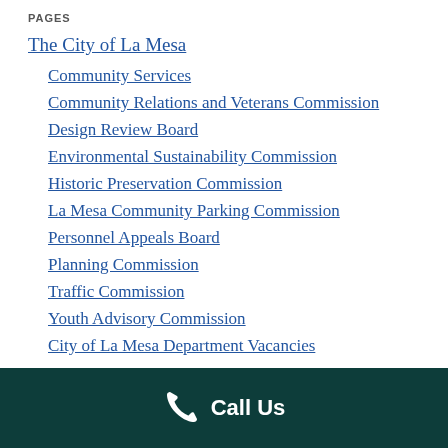PAGES
The City of La Mesa
Community Services
Community Relations and Veterans Commission
Design Review Board
Environmental Sustainability Commission
Historic Preservation Commission
La Mesa Community Parking Commission
Personnel Appeals Board
Planning Commission
Traffic Commission
Youth Advisory Commission
City of La Mesa Department Vacancies
Call Us